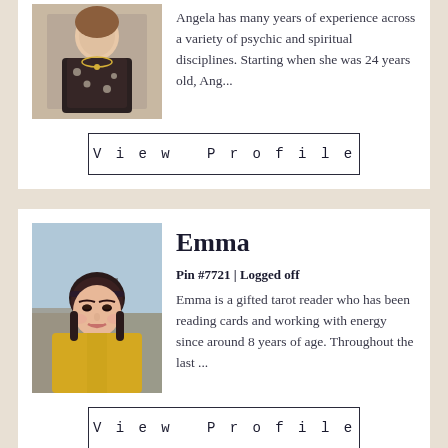[Figure (photo): Photo of Angela, a woman in a black and white patterned top with a necklace, partial view at top of page]
Angela has many years of experience across a variety of psychic and spiritual disciplines. Starting when she was 24 years old, Ang...
View Profile
[Figure (photo): Photo of Emma, a woman with dark hair wearing a yellow top, outdoors with stone wall behind her]
Emma
Pin #7721 | Logged off
Emma is a gifted tarot reader who has been reading cards and working with energy since around 8 years of age. Throughout the last ...
View Profile